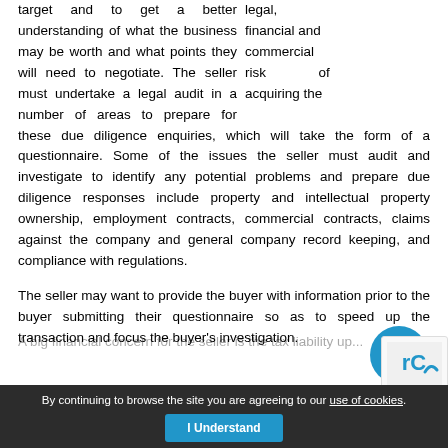legal, financial and commercial risk of acquiring the target and to get a better understanding of what the business may be worth and what points they will need to negotiate. The seller must undertake a legal audit in a number of areas to prepare for these due diligence enquiries, which will take the form of a questionnaire. Some of the issues the seller must audit and investigate to identify any potential problems and prepare due diligence responses include property and intellectual property ownership, employment contracts, commercial contracts, claims against the company and general company record keeping, and compliance with regulations.
The seller may want to provide the buyer with information prior to the buyer submitting their questionnaire so as to speed up the transaction and focus the buyer's investigation.
A big financial concern for the seller is the tax liability up...
By continuing to browse the site you are agreeing to our use of cookies. I Understand